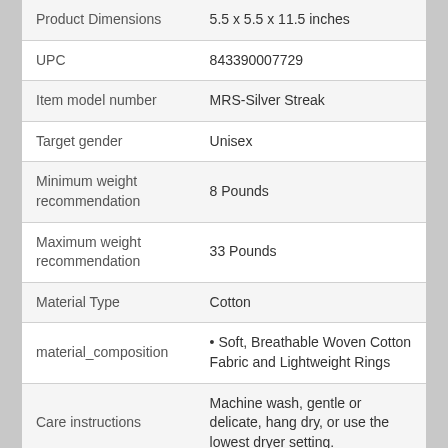| Attribute | Value |
| --- | --- |
| Product Dimensions | 5.5 x 5.5 x 11.5 inches |
| UPC | 843390007729 |
| Item model number | MRS-Silver Streak |
| Target gender | Unisex |
| Minimum weight recommendation | 8 Pounds |
| Maximum weight recommendation | 33 Pounds |
| Material Type | Cotton |
| material_composition | • Soft, Breathable Woven Cotton Fabric and Lightweight Rings |
| Care instructions | Machine wash, gentle or delicate, hang dry, or use the lowest dryer setting. |
| Number of items | 1 |
| Batteries required | No |